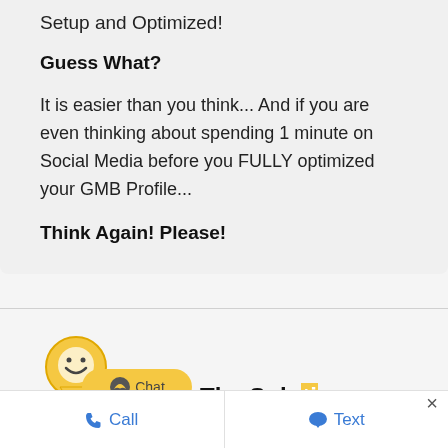Setup and Optimized!
Guess What?
It is easier than you think... And if you are even thinking about spending 1 minute on Social Media before you FULLY optimized your GMB Profile...
Think Again! Please!
[Figure (illustration): Yellow location pin icon with smiley face, with chat bubble overlay showing messenger icon and 'Chat' text. Below is bold text 'The Solution']
Call   Text   ×